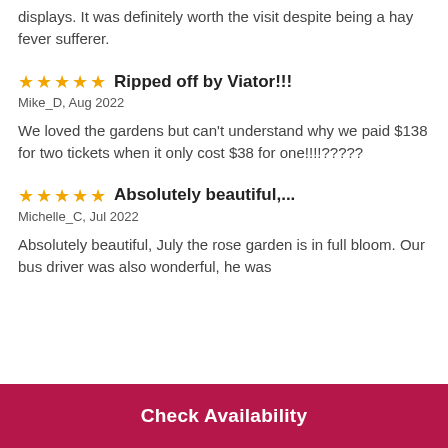displays. It was definitely worth the visit despite being a hay fever sufferer.
Ripped off by Viator!!!
Mike_D, Aug 2022
We loved the gardens but can't understand why we paid $138 for two tickets when it only cost $38 for one!!!!?????
Absolutely beautiful,...
Michelle_C, Jul 2022
Absolutely beautiful, July the rose garden is in full bloom. Our bus driver was also wonderful, he was
Check Availability